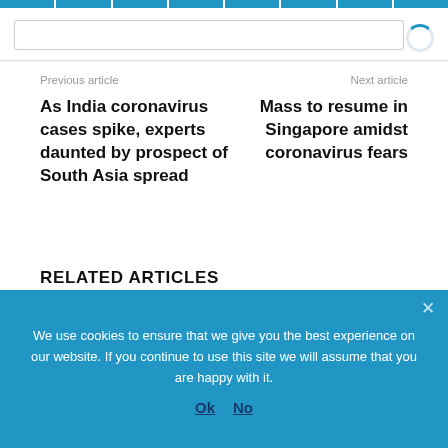Navigation bar with tabs and search
Previous article
As India coronavirus cases spike, experts daunted by prospect of South Asia spread
Next article
Mass to resume in Singapore amidst coronavirus fears
RELATED ARTICLES
[Figure (photo): Crowd of protestors holding signs with RMP logo on street]
RMP decries allegation of ‘terrorist financing’ as part of worsening state repression
We use cookies to ensure that we give you the best experience on our website. If you continue to use this site we will assume that you are happy with it. Ok  No